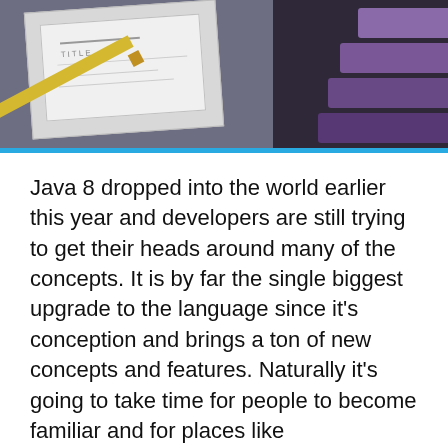[Figure (photo): Top banner photo showing a pencil, paper sketch/wireframe, and purple color swatches on a dark background]
Java 8 dropped into the world earlier this year and developers are still trying to get their heads around many of the concepts. It is by far the single biggest upgrade to the language since it's conception and brings a ton of new concepts and features. Naturally it's going to take time for people to become familiar and for places like stackexchange to fill up with answers to the many questions that inevitably fall out.
One of the things I've found to be lacking is